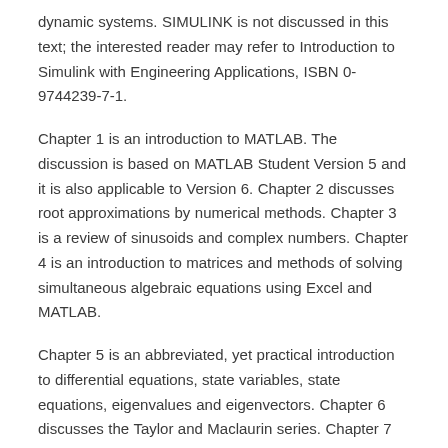dynamic systems. SIMULINK is not discussed in this text; the interested reader may refer to Introduction to Simulink with Engineering Applications, ISBN 0-9744239-7-1.
Chapter 1 is an introduction to MATLAB. The discussion is based on MATLAB Student Version 5 and it is also applicable to Version 6. Chapter 2 discusses root approximations by numerical methods. Chapter 3 is a review of sinusoids and complex numbers. Chapter 4 is an introduction to matrices and methods of solving simultaneous algebraic equations using Excel and MATLAB.
Chapter 5 is an abbreviated, yet practical introduction to differential equations, state variables, state equations, eigenvalues and eigenvectors. Chapter 6 discusses the Taylor and Maclaurin series. Chapter 7 begins with finite differences and interpolation methods. It concludes with applications using MATLAB. Chapter 8 is an introduction to linear and nonlinear expressions.